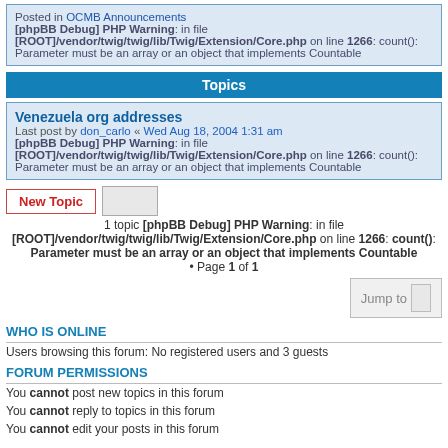Posted in OCMB Announcements
[phpBB Debug] PHP Warning: in file [ROOT]/vendor/twig/twig/lib/Twig/Extension/Core.php on line 1266: count(): Parameter must be an array or an object that implements Countable
Topics
Venezuela org addresses
Last post by don_carlo « Wed Aug 18, 2004 1:31 am
[phpBB Debug] PHP Warning: in file [ROOT]/vendor/twig/twig/lib/Twig/Extension/Core.php on line 1266: count(): Parameter must be an array or an object that implements Countable
1 topic [phpBB Debug] PHP Warning: in file [ROOT]/vendor/twig/twig/lib/Twig/Extension/Core.php on line 1266: count(): Parameter must be an array or an object that implements Countable • Page 1 of 1
WHO IS ONLINE
Users browsing this forum: No registered users and 3 guests
FORUM PERMISSIONS
You cannot post new topics in this forum
You cannot reply to topics in this forum
You cannot edit your posts in this forum